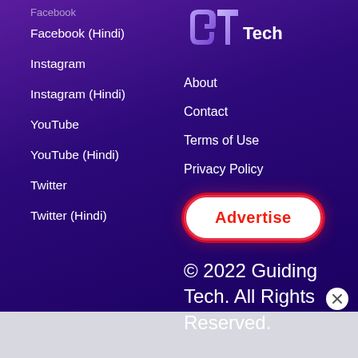Facebook (Hindi)
Instagram
Instagram (Hindi)
YouTube
YouTube (Hindi)
Twitter
Twitter (Hindi)
[Figure (logo): Guiding Tech logo - stylized GT letters in purple/white with 'Tech' text]
About
Contact
Terms of Use
Privacy Policy
Advertise
© 2022 Guiding Tech. All Rights Reserved.